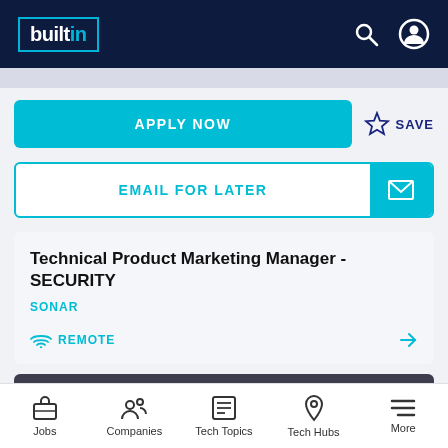builtin
APPLY NOW
SAVE
EMAIL FOR LATER
Technical Product Marketing Manager - SECURITY
SONAR
REMOTE
MARKETING
Jobs  Companies  Tech Topics  Tech Hubs  More